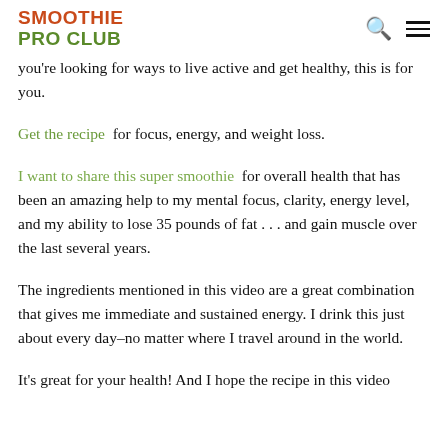SMOOTHIE PRO CLUB
you're looking for ways to live active and get healthy, this is for you.
Get the recipe  for focus, energy, and weight loss.
I want to share this super smoothie  for overall health that has been an amazing help to my mental focus, clarity, energy level, and my ability to lose 35 pounds of fat . . . and gain muscle over the last several years.
The ingredients mentioned in this video are a great combination that gives me immediate and sustained energy. I drink this just about every day–no matter where I travel around in the world.
It's great for your health! And I hope the recipe in this video